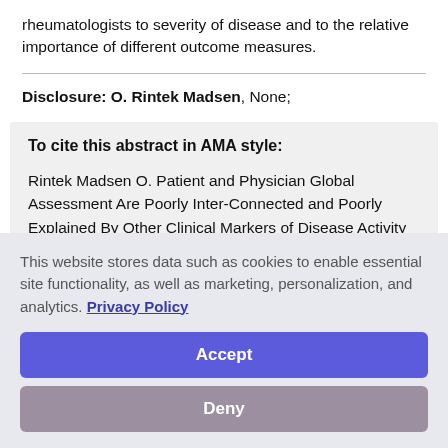rheumatologists to severity of disease and to the relative importance of different outcome measures.
Disclosure: O. Rintek Madsen, None;
To cite this abstract in AMA style:
Rintek Madsen O. Patient and Physician Global Assessment Are Poorly Inter-Connected and Poorly Explained By Other Clinical Markers of Disease Activity in Individual Patients with
This website stores data such as cookies to enable essential site functionality, as well as marketing, personalization, and analytics. Privacy Policy
Accept
Deny